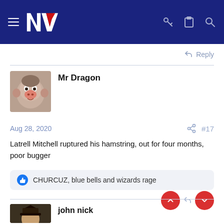NZ forum header with hamburger menu, NZ logo, key, clipboard, and search icons
Reply
Mr Dragon
Aug 28, 2020  #17
Latrell Mitchell ruptured his hamstring, out for four months, poor bugger
CHURCUZ, blue bells and wizards rage
john nick